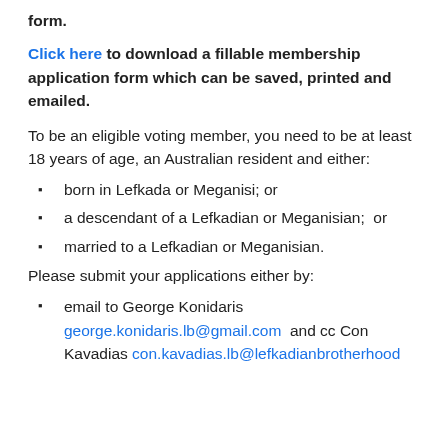form.
Click here to download a fillable membership application form which can be saved, printed and emailed.
To be an eligible voting member, you need to be at least 18 years of age, an Australian resident and either:
born in Lefkada or Meganisi; or
a descendant of a Lefkadian or Meganisian;  or
married to a Lefkadian or Meganisian.
Please submit your applications either by:
email to George Konidaris george.konidaris.lb@gmail.com  and cc Con Kavadias con.kavadias.lb@lefkadianbrotherh​ood